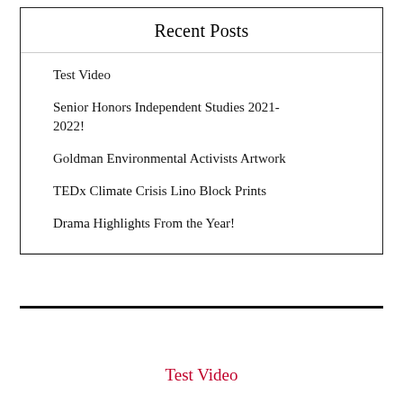Recent Posts
Test Video
Senior Honors Independent Studies 2021-2022!
Goldman Environmental Activists Artwork
TEDx Climate Crisis Lino Block Prints
Drama Highlights From the Year!
[Figure (other): Red scroll-to-top bar with dark red button showing upward arrow]
Test Video